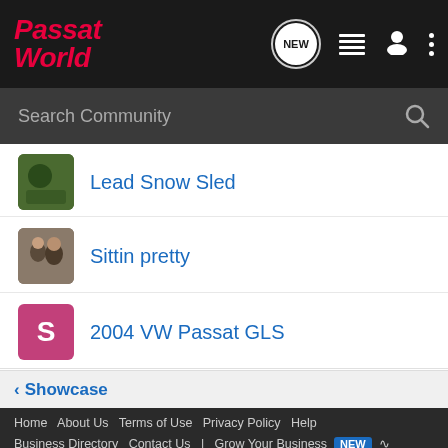Passat World
Lead Snow Sled
Sittin pretty
2004 VW Passat GLS
< Showcase
Home   About Us   Terms of Use   Privacy Policy   Help   Business Directory   Contact Us   |   Grow Your Business   NEW   RSS   VerticalScope Inc., 111 Peter Street, Suite 600, Toronto,